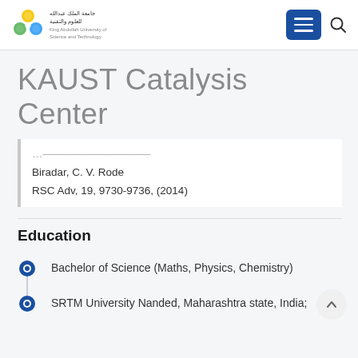KAUST Catalysis Center
KAUST Catalysis Center
Biradar, C. V. Rode
RSC Adv, 19, 9730-9736, (2014)
Education
Bachelor of Science (Maths, Physics, Chemistry)
SRTM University Nanded, Maharashtra state, India;